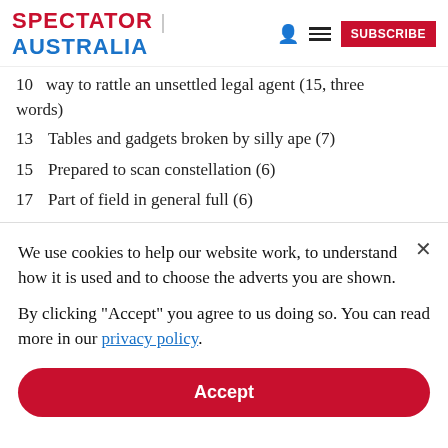SPECTATOR | AUSTRALIA
10   way to rattle an unsettled legal agent (15, three words)
13  Tables and gadgets broken by silly ape (7)
15  Prepared to scan constellation (6)
17  Part of field in general full (6)
18  Exercises ending in appraisal and mature chat (6)
19  West African I see working around valley (7)
We use cookies to help our website work, to understand how it is used and to choose the adverts you are shown.
By clicking "Accept" you agree to us doing so. You can read more in our privacy policy.
Accept